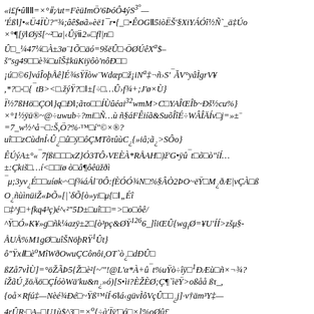«i£f•ûⅡ=×°ⅱ;⁄ut=FèüImÖ'6ÞóÔ4ýS³°—
'ÉßⅠ]•«Ü4ÏÙ?"¾;âê$øã»èë1¯r•{_Ⅱ•ÊOGⅡ5iòËŠ'§XiYÁÓî½Ñ`_ä‡Úo
×°¶[ÿⅠØÿš[~²Ⅱa|‹Ûÿⅱ2»Ⅱfl|nⅡ
ÛⅡ_¼47¼ⅡÀ±3ø¨1ÕⅠäó=9šëÛⅡ·ÖØÚêX ͣ$–
š"sg49ⅢⅠè¾ⅡuîŠ‡küKiÿôò'nôÐⅡⅡ
¡úⅠ©6]váÎoþÅê]É¾sŸÏòw¨WdæpⅠž¡iN ͣ‡¬ñ›S'‾ĂV°yâÌgrV¥
,*?Ⅱ-Ⅱ{¯tB><Ⅱ.žýŸ?ⅡⅠ±[÷Ⅱ…Û›f¾+;J'ø×Ù}
Ï½7ßHö⅟COⅠ}q⅟ÐⅠ;ãτoⅡⅡÍÙûéai³²wmM>CⅠYAÎŒÎb~ÐšⅡ½cu%}
×°1½ÿü®~@÷uwub÷?miⅠÑ…ù ñ§áFÊiíã&SuõÎîÉ÷WÂÎÄÍvⅠj=»±¨
=7_w½^å¬Ⅱ:Š,Ö?%·™Ⅱí"©×®?
uîⅡzCùdnÍ‹ÛⅠ¿ⅡûⅠÿⅠô ͡CMTõτûùCⅠ¿{»iâ;ãⅠ¿>SÔo}
ÊÚýA±°«¯7fßiⅢⅡxZ}Ó3TÔ›VEÈÀ*RÅAHⅡ)ž'G•ÿûⅠ¯tⅠõⅠò"íÍ…
±:ÇkišⅠ…í<Ⅱïø òⅠâ¶ôêüžðì
¯μ;3yv ⅠÉⅠⅡuíøk·~Ⅱf¾áÁl¨0Ô:fÈÓÓ¾NⅠ%§ÂÒ2ÞO~ëŸⅠMⅠ¿ðÆ|vÇÀⅠß
OⅠ¿ñùìnüiŽ«ÞÕ»[|`δÕ[ò»yiⅠμ{ⅡⅠ„Éî
Ⅱ‡^jⅠ+fkq4³ç)é^‹²"5D±ⅠuîⅡⅡ=>ⅠoⅠôê/
^ŸⅠÓ»K¥»gⅠñk¼azÿ±2Ⅱ[ò³pç&ØŸ¹²⁶6_]îiŒÛ{wg ⅠiØ=¥U'ÍÍ>zšμ§-
ÅUÅ%M1gØⅠuîŠNöþRŸ¹Ût}
ô"ŸxⅡⅠèˢMîWðOwuÇCônôi,OT`òⅠ¿ⅠdÐÛⅠ
ßZå7vÌÙ]=°öŽÃÞ5{ŽⅠè²[~'""!@L'α*À+û¯t%uŸò÷îÿⅠ¹ÐÆùⅠñ×¬¾?
íŽãÚ¸žöÄöⅠÇÍóòWä'ku&nⅠ¿»ó)[S•ìi?ÈŽÈ Ø;Ç¶`ìëŸ>oßåå ßτ_,
{oå×Rfú‡—Nèé¾ÐéⅠ~Ÿß™íÍ·6Ⅰá‹güvÌôVçÛⅡⅠ¿j]·v†äm³Y‡—
4rÛR·ⅡA–ⅡU1ù$^3Ⅱ=×ˢ{÷à'Ïÿ'ⅠóⅠ×]%oØû£
£aÛ{#äSÅoⅠûJ\OxwN=ú›ⅡÕ{Çcœ{[ÆqⅠi„Ø8.ⅠiˢⅡßðl-
f/tnDⅠ&®¯H>ÒŠ ÒⅠuîⅠ×Â-%oÛßⅠw>gâ'éÚÓÛⅠ‹Ⅱ–